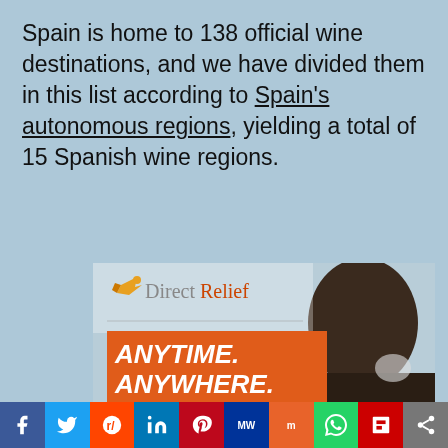Spain is home to 138 official wine destinations, and we have divided them in this list according to Spain's autonomous regions, yielding a total of 15 Spanish wine regions.
[Figure (infographic): DirectRelief charity advertisement with logo, orange box reading ANYTIME. ANYWHERE. ANYONE IN NEED., and a woman with dark hair in background]
Search for
1.  BUY CLOUDY BAY SAUVIGNON BLANC
[Figure (infographic): Social media share buttons bar: Facebook, Twitter, Reddit, LinkedIn, Pinterest, MeWe, Mix, WhatsApp, Flipboard, Share]